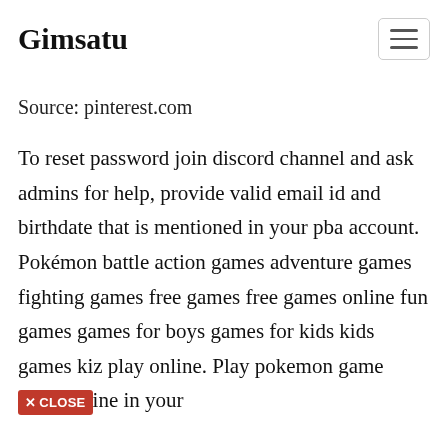Gimsatu
Source: pinterest.com
To reset password join discord channel and ask admins for help, provide valid email id and birthdate that is mentioned in your pba account. Pokémon battle action games adventure games fighting games free games free games online fun games games for boys games for kids kids games kiz play online. Play pokemon games online in your